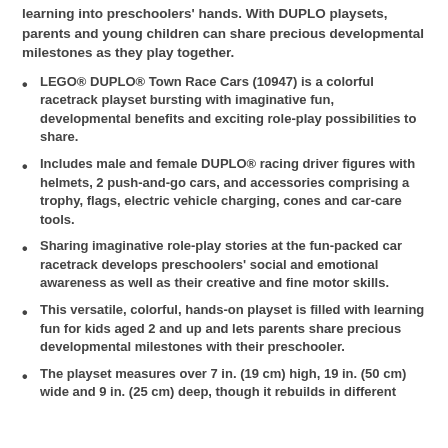learning into preschoolers' hands. With DUPLO playsets, parents and young children can share precious developmental milestones as they play together.
LEGO® DUPLO® Town Race Cars (10947) is a colorful racetrack playset bursting with imaginative fun, developmental benefits and exciting role-play possibilities to share.
Includes male and female DUPLO® racing driver figures with helmets, 2 push-and-go cars, and accessories comprising a trophy, flags, electric vehicle charging, cones and car-care tools.
Sharing imaginative role-play stories at the fun-packed car racetrack develops preschoolers' social and emotional awareness as well as their creative and fine motor skills.
This versatile, colorful, hands-on playset is filled with learning fun for kids aged 2 and up and lets parents share precious developmental milestones with their preschooler.
The playset measures over 7 in. (19 cm) high, 19 in. (50 cm) wide and 9 in. (25 cm) deep, though it rebuilds in different